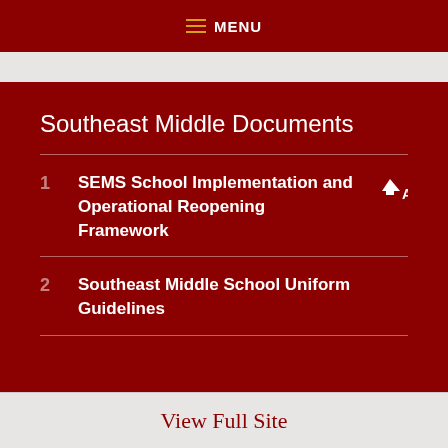≡ MENU
Southeast Middle Documents
SEMS School Implementation and Operational Reopening Framework
Southeast Middle School Uniform Guidelines
View Full Site